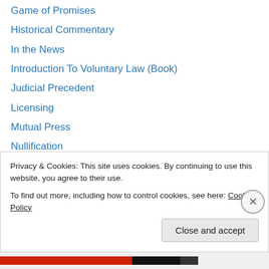Game of Promises
Historical Commentary
In the News
Introduction To Voluntary Law (Book)
Judicial Precedent
Licensing
Mutual Press
Nullification
Overview
Public Interest Laws
public ledgers
Reciprocity
Social Promises
Privacy & Cookies: This site uses cookies. By continuing to use this website, you agree to their use.
To find out more, including how to control cookies, see here: Cookie Policy
Close and accept